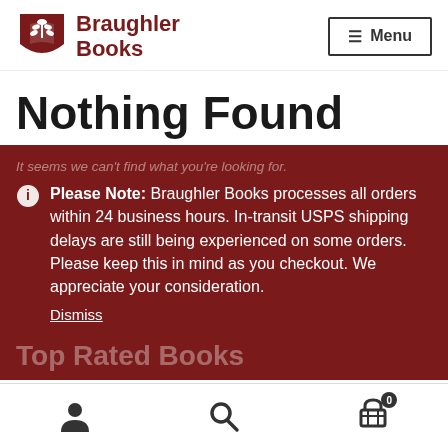[Figure (logo): Braughler Books logo with wheat/book shield icon and text]
Nothing Found
Please Note: Braughler Books processes all orders within 24 business hours. In-transit USPS shipping delays are still being experienced on some orders. Please keep this in mind as you checkout. We appreciate your consideration.
Dismiss
Top Rated Books